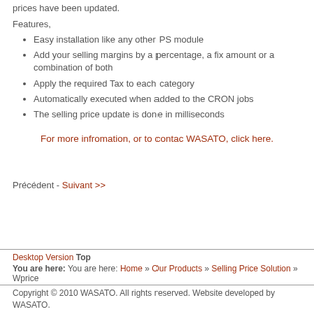prices have been updated.
Features,
Easy installation like any other PS module
Add your selling margins by a percentage, a fix amount or a combination of both
Apply the required Tax to each category
Automatically executed when added to the CRON jobs
The selling price update is done in milliseconds
For more infromation, or to contac WASATO, click here.
Précédent - Suivant >>
Desktop Version Top | You are here: You are here: Home » Our Products » Selling Price Solution » Wprice | Copyright © 2010 WASATO. All rights reserved. Website developed by WASATO.